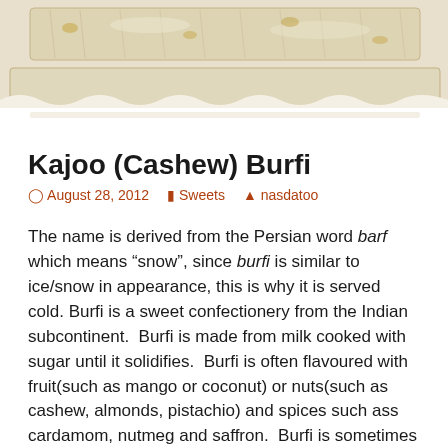[Figure (photo): Close-up photo of Kajoo (Cashew) Burfi — light beige/cream colored sweet confectionery bars with a textured surface, shown from above against a white background.]
Kajoo (Cashew) Burfi
August 28, 2012   Sweets   nasdatoo
The name is derived from the Persian word barf which means "snow", since burfi is similar to ice/snow in appearance, this is why it is served cold. Burfi is a sweet confectionery from the Indian subcontinent.  Burfi is made from milk cooked with sugar until it solidifies.  Burfi is often flavoured with fruit(such as mango or coconut) or nuts(such as cashew, almonds, pistachio) and spices such ass cardamom, nutmeg and saffron.  Burfi is sometimes coated with a thin layer of edible metallic leaf known as Vark.  They are typically cut into...